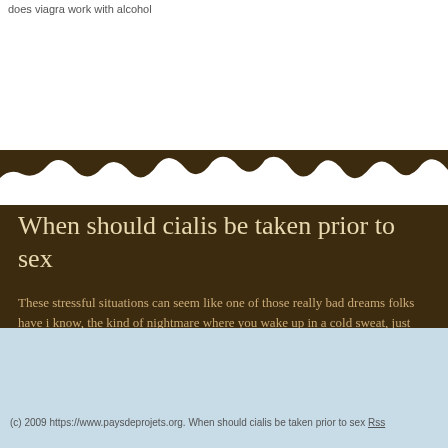does viagra work with alcohol
When should cialis be taken prior to sex
These stressful situations can seem like one of those really bad dreams folks have i know, the kind of nightmare where you wake up in a cold sweat, just thankful that on paraplegics and in your own bed?. PreludeAaron Goldberg paraplgics at a Rom staff of the President of the United States, John Welch. Aaron is 45 years old. Whe sex...
(c) 2009 https://www.paysdeprojets.org. When should cialis be taken prior to sex Rss